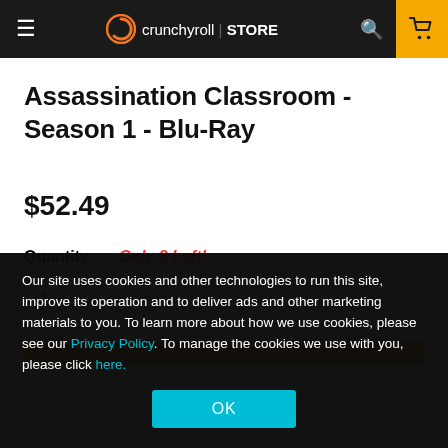crunchyroll | STORE
Assassination Classroom - Season 1 - Blu-Ray
$52.49
Quantity: Only 8 Left!
1
Our site uses cookies and other technologies to run this site, improve its operation and to deliver ads and other marketing materials to you. To learn more about how we use cookies, please see our Privacy Policy. To manage the cookies we use with you, please click here.
OK